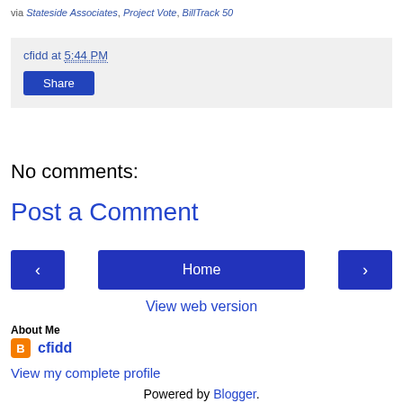via Stateside Associates, Project Vote, BillTrack 50
cfidd at 5:44 PM
Share
No comments:
Post a Comment
Home
View web version
About Me
cfidd
View my complete profile
Powered by Blogger.